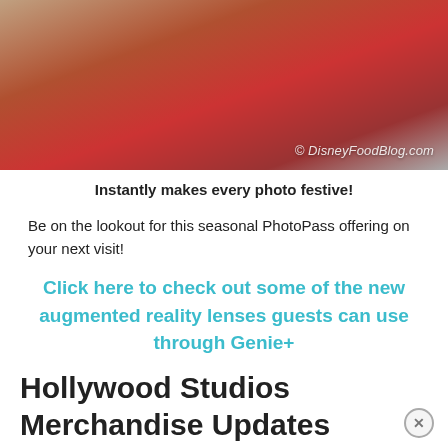[Figure (photo): Person holding a red heart-shaped Disney PhotoPass prop with white text and a snowflake design. Watermark reads '© DisneyFoodBlog.com'.]
Instantly makes every photo festive!
Be on the lookout for this seasonal PhotoPass offering on your next visit!
Click here to check out some of the new augmented reality lenses guests can use through Genie+
Hollywood Studios Merchandise Updates
Tatooine Traders
If you've noticed the store shelves in your hometown are looking a little thinned out this holiday season, then you